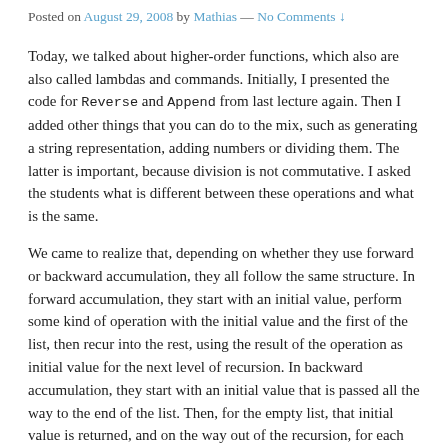Posted on August 29, 2008 by Mathias — No Comments ↓
Today, we talked about higher-order functions, which also are also called lambdas and commands. Initially, I presented the code for Reverse and Append from last lecture again. Then I added other things that you can do to the mix, such as generating a string representation, adding numbers or dividing them. The latter is important, because division is not commutative. I asked the students what is different between these operations and what is the same.
We came to realize that, depending on whether they use forward or backward accumulation, they all follow the same structure. In forward accumulation, they start with an initial value, perform some kind of operation with the initial value and the first of the list, then recur into the rest, using the result of the operation as initial value for the next level of recursion. In backward accumulation, they start with an initial value that is passed all the way to the end of the list. Then, for the empty list, that initial value is returned, and on the way out of the recursion, for each non-empty list, an operation is performed with the first of the list and the return value of the recursion that just finished, and the result is returned to the next level